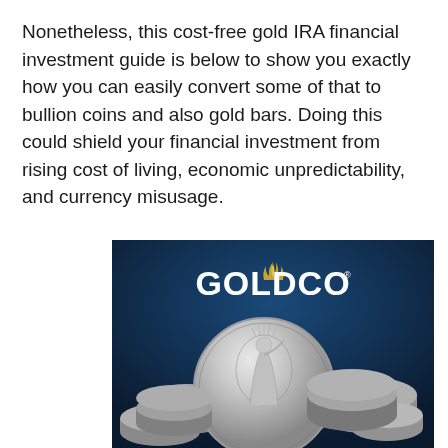Nonetheless, this cost-free gold IRA financial investment guide is below to show you exactly how you can easily convert some of that to bullion coins and also gold bars. Doing this could shield your financial investment from rising cost of living, economic unpredictability, and currency misusage.
[Figure (logo): Goldco logo and brand image showing silver coins (American Silver Eagles) stacked on a dark blue background with the GOLDCO wordmark and golden flame/leaf symbol above it.]